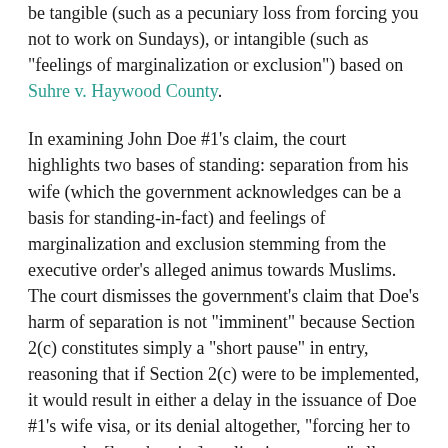be tangible (such as a pecuniary loss from forcing you not to work on Sundays), or intangible (such as "feelings of marginalization or exclusion") based on Suhre v. Haywood County.
In examining John Doe #1’s claim, the court highlights two bases of standing: separation from his wife (which the government acknowledges can be a basis for standing-in-fact) and feelings of marginalization and exclusion stemming from the executive order’s alleged animus towards Muslims. The court dismisses the government’s claim that Doe’s harm of separation is not “imminent” because Section 2(c) constitutes simply a “short pause” in entry, reasoning that if Section 2(c) were to be implemented, it would result in either a delay in the issuance of Doe #1’s wife visa, or its denial altogether, “forcing her to restart the [lengthy visa] application process” all over again after having come so close to entry.